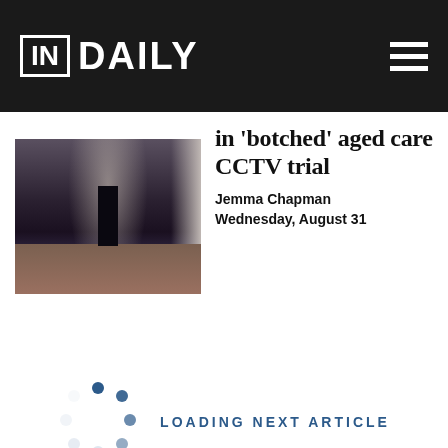IN DAILY
[Figure (photo): Dark hallway with a silhouetted figure standing at the far end, light coming through a doorway, wooden floor visible]
in 'botched' aged care CCTV trial
Jemma Chapman    Wednesday, August 31
[Figure (infographic): Circular spinner/loading dots animation indicator]
LOADING NEXT ARTICLE